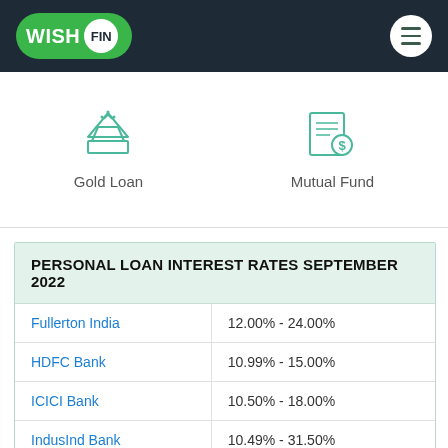WISH FIN
[Figure (illustration): Gold Loan icon showing stacked gold bars (pyramidal shape) in teal/green outline style]
Gold Loan
[Figure (illustration): Mutual Fund icon showing a document with dollar coin in teal/green outline style]
Mutual Fund
| PERSONAL LOAN INTEREST RATES SEPTEMBER 2022 |  |
| --- | --- |
| Fullerton India | 12.00% - 24.00% |
| HDFC Bank | 10.99% - 15.00% |
| ICICI Bank | 10.50% - 18.00% |
| IndusInd Bank | 10.49% - 31.50% |
| Kotak Bank | 10.75% |
| RBL | 17.50% - 26.00% |